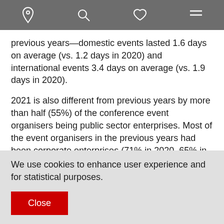[navigation bar with location, search, heart, menu icons]
previous years—domestic events lasted 1.6 days on average (vs. 1.2 days in 2020) and international events 3.4 days on average (vs. 1.9 days in 2020).
2021 is also different from previous years by more than half (55%) of the conference event organisers being public sector enterprises. Most of the event organisers in the previous years had been corporate enterprises (71% in 2020, 65% in 2019).
The number of international events with 100 or more
We use cookies to enhance user experience and for statistical purposes.
Close